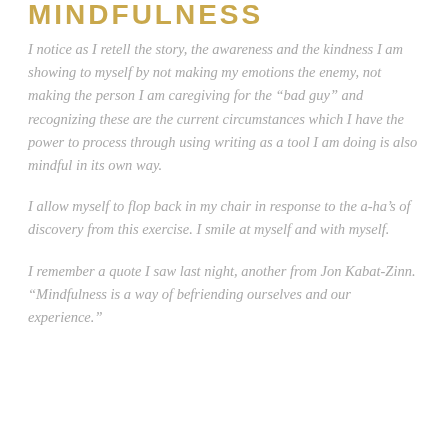MINDFULNESS
I notice as I retell the story, the awareness and the kindness I am showing to myself by not making my emotions the enemy, not making the person I am caregiving for the “bad guy” and recognizing these are the current circumstances which I have the power to process through using writing as a tool I am doing is also mindful in its own way.
I allow myself to flop back in my chair in response to the a-ha’s of discovery from this exercise. I smile at myself and with myself.
I remember a quote I saw last night, another from Jon Kabat-Zinn. “Mindfulness is a way of befriending ourselves and our experience.”